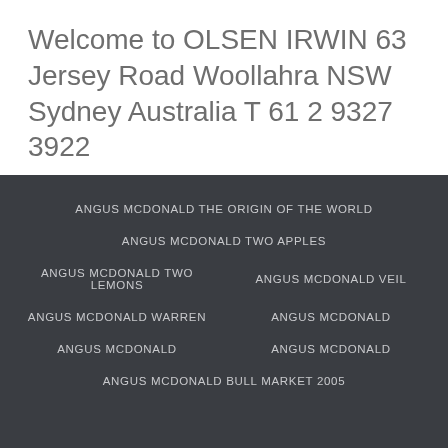Welcome to OLSEN IRWIN 63 Jersey Road Woollahra NSW Sydney Australia T 61 2 9327 3922
ANGUS MCDONALD THE ORIGIN OF THE WORLD
ANGUS MCDONALD TWO APPLES
ANGUS MCDONALD TWO LEMONS
ANGUS MCDONALD VEIL
ANGUS MCDONALD WARREN
ANGUS MCDONALD
ANGUS MCDONALD
ANGUS MCDONALD
ANGUS MCDONALD BULL MARKET 2005